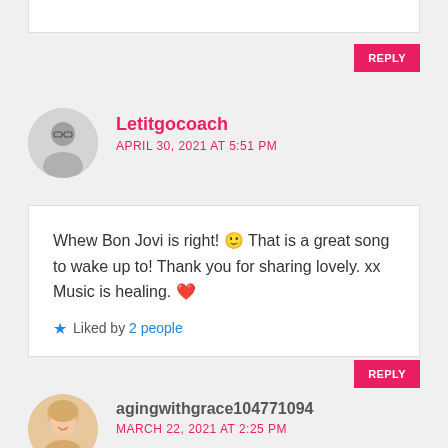REPLY
Letitgocoach
APRIL 30, 2021 AT 5:51 PM
Whew Bon Jovi is right! 🙂 That is a great song to wake up to! Thank you for sharing lovely. xx Music is healing. ❤️
Liked by 2 people
REPLY
agingwithgrace104771094
MARCH 22, 2021 AT 2:25 PM